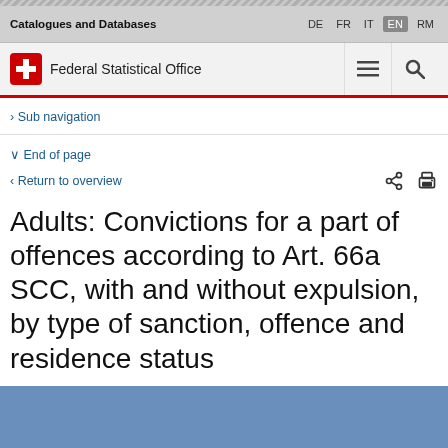Catalogues and Databases
DE FR IT EN RM
Federal Statistical Office
> Sub navigation
∨ End of page
< Return to overview
Adults: Convictions for a part of offences according to Art. 66a SCC, with and without expulsion, by type of sanction, offence and residence status
[Figure (other): Blue rectangular banner area at bottom of page]